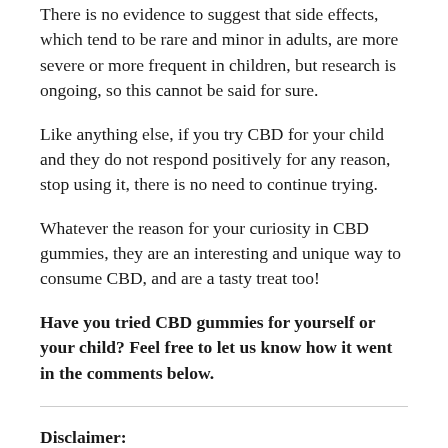There is no evidence to suggest that side effects, which tend to be rare and minor in adults, are more severe or more frequent in children, but research is ongoing, so this cannot be said for sure.
Like anything else, if you try CBD for your child and they do not respond positively for any reason, stop using it, there is no need to continue trying.
Whatever the reason for your curiosity in CBD gummies, they are an interesting and unique way to consume CBD, and are a tasty treat too!
Have you tried CBD gummies for yourself or your child? Feel free to let us know how it went in the comments below.
Disclaimer:
The products we sell do not have proven health benefits.